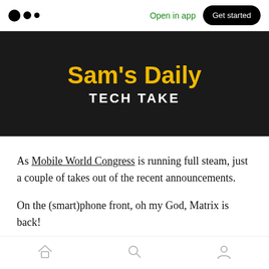Open in app | Get started
[Figure (illustration): Dark banner image with yellow bold text 'Sam's Daily' and white text 'TECH TAKE' below it on a dark background.]
As Mobile World Congress is running full steam, just a couple of takes out of the recent announcements.
On the (smart)phone front, oh my God, Matrix is back!
- After the 3310, Nokia keeps the nostalgy up
Home | Search | Profile